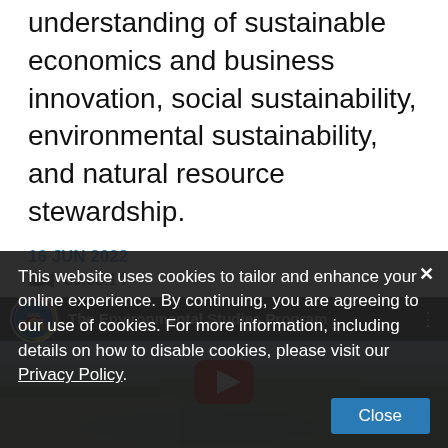understanding of sustainable economics and business innovation, social sustainability, environmental sustainability, and natural resource stewardship.
16 JUN 2022
00:03:14
[Figure (screenshot): YouTube video thumbnail showing 'The Environmental Studies Program ...' from Save The Bay, with people wading in a marsh/wetland area. A red YouTube play button is visible in the center.]
This website uses cookies to tailor and enhance your online experience. By continuing, you are agreeing to our use of cookies. For more information, including details on how to disable cookies, please visit our Privacy Policy.